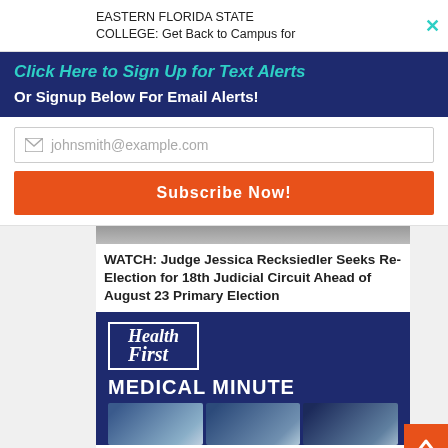EASTERN FLORIDA STATE COLLEGE: Get Back to Campus for
Click Here to Sign Up for Text Alerts
Or Signup Below For Email Alerts!
johnsmith@example.com
Subscribe Now!
WATCH: Judge Jessica Recksiedler Seeks Re-Election for 18th Judicial Circuit Ahead of August 23 Primary Election
[Figure (logo): Health First Medical Minute logo with blue background, Health First logo in white bordered box, MEDICAL MINUTE text, and three photo thumbnails of people below]
HEALTH FIRST MEDICAL MINUTE: